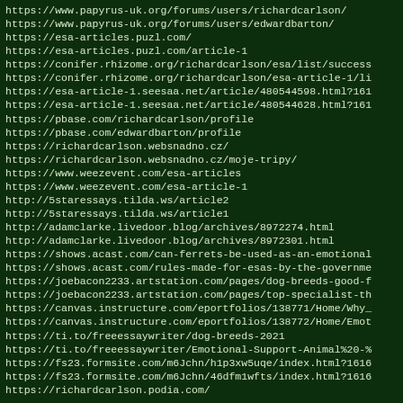https://www.papyrus-uk.org/forums/users/richardcarlson/
https://www.papyrus-uk.org/forums/users/edwardbarton/
https://esa-articles.puzl.com/
https://esa-articles.puzl.com/article-1
https://conifer.rhizome.org/richardcarlson/esa/list/success
https://conifer.rhizome.org/richardcarlson/esa-article-1/li
https://esa-article-1.seesaa.net/article/480544598.html?161
https://esa-article-1.seesaa.net/article/480544628.html?161
https://pbase.com/richardcarlson/profile
https://pbase.com/edwardbarton/profile
https://richardcarlson.websnadno.cz/
https://richardcarlson.websnadno.cz/moje-tripy/
https://www.weezevent.com/esa-articles
https://www.weezevent.com/esa-article-1
http://5staressays.tilda.ws/article2
http://5staressays.tilda.ws/article1
http://adamclarke.livedoor.blog/archives/8972274.html
http://adamclarke.livedoor.blog/archives/8972301.html
https://shows.acast.com/can-ferrets-be-used-as-an-emotional
https://shows.acast.com/rules-made-for-esas-by-the-governme
https://joebacon2233.artstation.com/pages/dog-breeds-good-f
https://joebacon2233.artstation.com/pages/top-specialist-th
https://canvas.instructure.com/eportfolios/138771/Home/Why_
https://canvas.instructure.com/eportfolios/138772/Home/Emot
https://ti.to/freeessaywriter/dog-breeds-2021
https://ti.to/freeessaywriter/Emotional-Support-Animal%20-%
https://fs23.formsite.com/m6Jchn/h1p3xw5uqe/index.html?1616
https://fs23.formsite.com/m6Jchn/46dfm1wfts/index.html?1616
https://richardcarlson.podia.com/